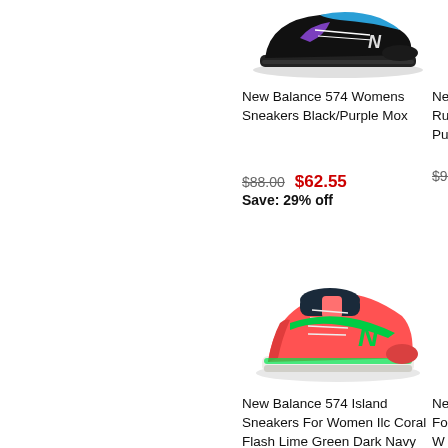[Figure (photo): New Balance 574 sneaker in black and purple/teal colorway, side view]
New Balance 574 Womens Sneakers Black/Purple Mox
$88.00  $62.55  Save: 29% off
New Runn Purp (partially visible)
$93. (partially visible)
[Figure (photo): New Balance 574 Island sneaker in coral/flash lime green and dark navy, side view]
New Balance 574 Island Sneakers For Women Ilc Coral Flash Lime Green Dark Navy
New For W Alb (partially visible)